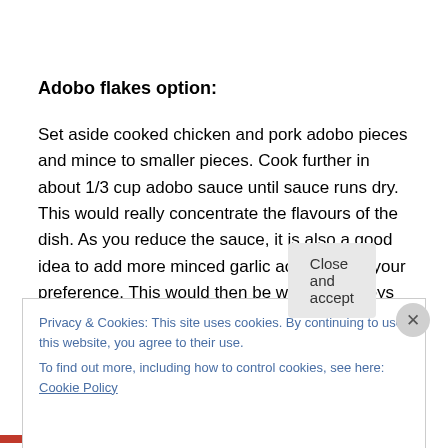Adobo flakes option:
Set aside cooked chicken and pork adobo pieces and mince to smaller pieces. Cook further in about 1/3 cup adobo sauce until sauce runs dry. This would really concentrate the flavours of the dish. As you reduce the sauce, it is also a good idea to add more minced garlic according to your preference. This would then be what we Pinoys call as adobo flakes. 🙂
Privacy & Cookies: This site uses cookies. By continuing to use this website, you agree to their use.
To find out more, including how to control cookies, see here: Cookie Policy
Close and accept